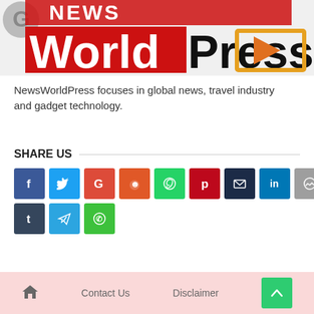[Figure (logo): NewsWorldPress logo with TV/video icon - 'World' in red block, 'Press' in black, with orange bracket and red triangle icon, and a grey circular G-like icon top left]
NewsWorldPress focuses in global news, travel industry and gadget technology.
SHARE US
[Figure (infographic): Social media share buttons: Facebook (f), Twitter (bird), Google (G), Reddit (alien), WhatsApp, Pinterest, Email, LinkedIn, Messenger, Tumblr, Telegram, Line]
Home | Contact Us | Disclaimer | Back to top button